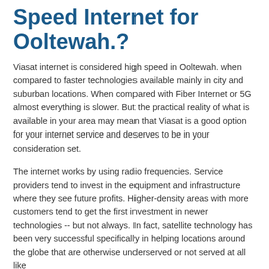Speed Internet for Ooltewah.?
Viasat internet is considered high speed in Ooltewah. when compared to faster technologies available mainly in city and suburban locations. When compared with Fiber Internet or 5G almost everything is slower. But the practical reality of what is available in your area may mean that Viasat is a good option for your internet service and deserves to be in your consideration set.
The internet works by using radio frequencies. Service providers tend to invest in the equipment and infrastructure where they see future profits. Higher-density areas with more customers tend to get the first investment in newer technologies -- but not always. In fact, satellite technology has been very successful specifically in helping locations around the globe that are otherwise underserved or not served at all like